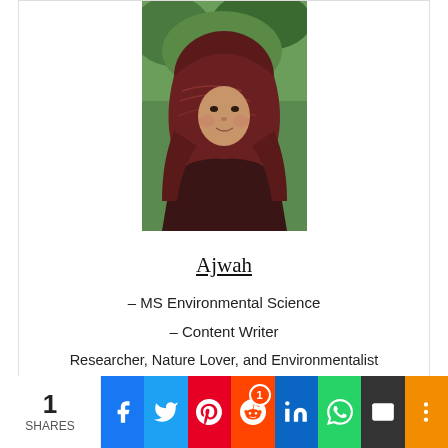[Figure (photo): Portrait photo of Ajwah, a woman wearing a dark red patterned hijab, standing outdoors with green trees in background]
Ajwah
– MS Environmental Science
– Content Writer
Researcher, Nature Lover, and Environmentalist
coronavirus
covid-19
disposable face masks
environmental degradation
environmental impacts
medical waste
N95 face masks